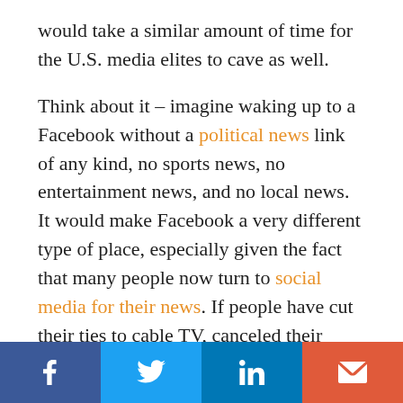would take a similar amount of time for the U.S. media elites to cave as well. Think about it – imagine waking up to a Facebook without a political news link of any kind, no sports news, no entertainment news, and no local news. It would make Facebook a very different type of place, especially given the fact that many people now turn to social media for their news. If people have cut their ties to cable TV, canceled their newspaper subscriptions, and stopped reading news magazines, then Facebook was probably their
[Figure (other): Social media share bar with four buttons: Facebook (dark blue), Twitter (light blue), LinkedIn (medium blue), Email (orange-red)]